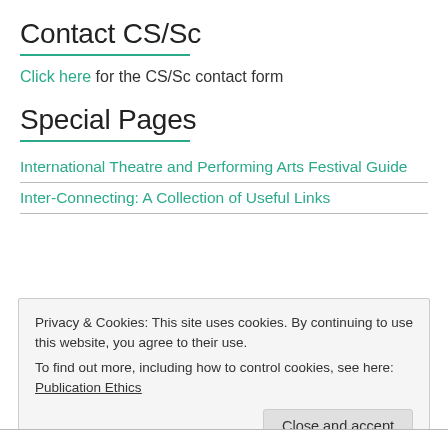Contact CS/Sc
Click here for the CS/Sc contact form
Special Pages
International Theatre and Performing Arts Festival Guide
Inter-Connecting: A Collection of Useful Links
Privacy & Cookies: This site uses cookies. By continuing to use this website, you agree to their use.
To find out more, including how to control cookies, see here: Publication Ethics
Close and accept